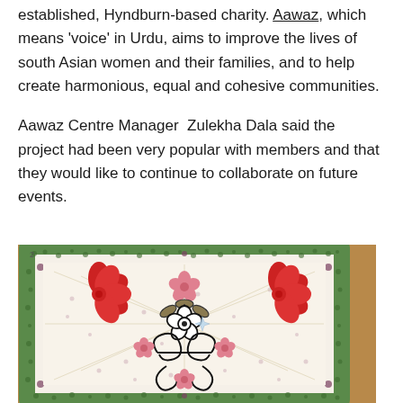established, Hyndburn-based charity. Aawaz, which means 'voice' in Urdu, aims to improve the lives of south Asian women and their families, and to help create harmonious, equal and cohesive communities.
Aawaz Centre Manager  Zulekha Dala said the project had been very popular with members and that they would like to continue to collaborate on future events.
[Figure (photo): A photograph of a handmade embroidered textile piece on a wooden surface. The fabric has a green embroidered border and features red flower embroidery in the top corners, a central black outlined flower with leaves, decorative scroll/swirl patterns in black, small pink floral motifs, and scattered dot patterns throughout the white fabric.]